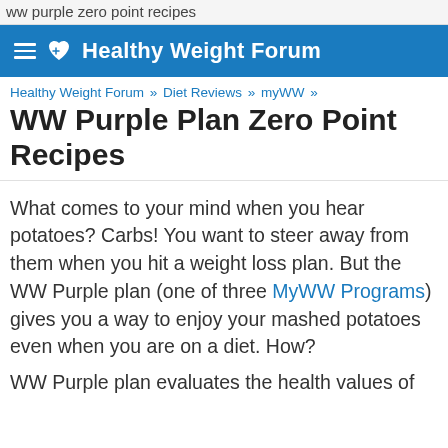ww purple zero point recipes
Healthy Weight Forum
Healthy Weight Forum » Diet Reviews » myWW »
WW Purple Plan Zero Point Recipes
What comes to your mind when you hear potatoes? Carbs! You want to steer away from them when you hit a weight loss plan. But the WW Purple plan (one of three MyWW Programs) gives you a way to enjoy your mashed potatoes even when you are on a diet. How?
WW Purple plan evaluates the health values of